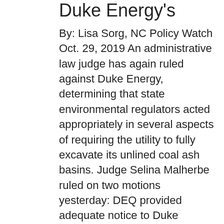Duke Energy's
By: Lisa Sorg, NC Policy Watch Oct. 29, 2019 An administrative law judge has again ruled against Duke Energy, determining that state environmental regulators acted appropriately in several aspects of requiring the utility to fully excavate its unlined coal ash basins. Judge Selina Malherbe ruled on two motions yesterday: DEQ provided adequate notice to Duke Energy prior to issuing the April 1, 2019 closure election decision; DEQ properly limited Duke Energy to filing a single closure plan for each coal ash impoundment. “The judge’s ruling confirms that DEQ acted openly and transparently as we made an